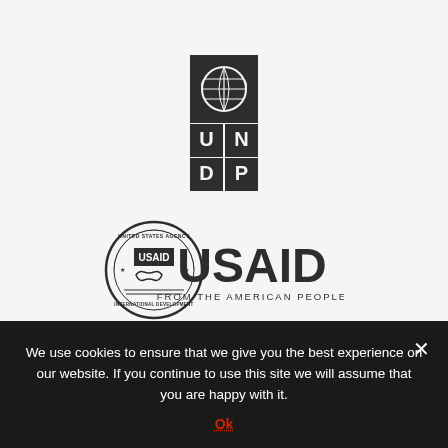[Figure (logo): UNDP (United Nations Development Programme) logo — UN emblem globe at top, with stacked letters U, N, D, P in bold square grid below, all in dark grey/black on white background]
[Figure (logo): USAID logo — circular seal of the United States Agency for International Development on the left with handshake emblem, and large bold text 'USAID' with 'FROM THE AMERICAN PEOPLE' below, all in dark grey on white background]
We use cookies to ensure that we give you the best experience on our website. If you continue to use this site we will assume that you are happy with it.
Ok